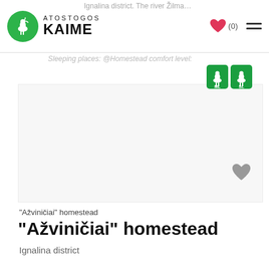Atostogos Kaime — navigation bar with logo, heart (0), and menu
Ignalina district. The river Žilma...
Sleeping places: @Homestead comfort level:
[Figure (logo): Two green stork badge icons]
[Figure (illustration): Gray heart favorite icon on card]
"Ažviničiai" homestead
"Ažviničiai" homestead
Ignalina district